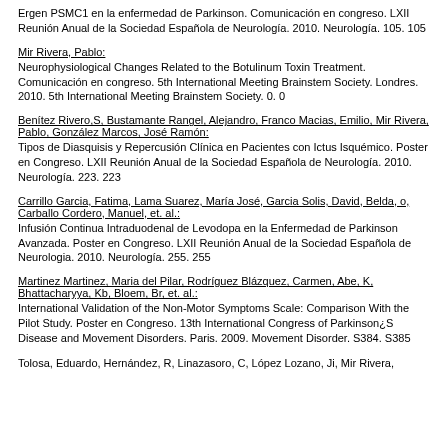Ergen PSMC1 en la enfermedad de Parkinson. Comunicación en congreso. LXII Reunión Anual de la Sociedad Española de Neurología. 2010. Neurología. 105. 105
Mir Rivera, Pablo:
Neurophysiological Changes Related to the Botulinum Toxin Treatment. Comunicación en congreso. 5th International Meeting Brainstem Society. Londres. 2010. 5th International Meeting Brainstem Society. 0. 0
Benítez Rivero,S, Bustamante Rangel, Alejandro, Franco Macias, Emilio, Mir Rivera, Pablo, González Marcos, José Ramón:
Tipos de Diasquisis y Repercusión Clínica en Pacientes con Ictus Isquémico. Poster en Congreso. LXII Reunión Anual de la Sociedad Española de Neurología. 2010. Neurología. 223. 223
Carrillo Garcia, Fatima, Lama Suarez, María José, Garcia Solis, David, Belda, o, Carballo Cordero, Manuel, et. al.:
Infusión Continua Intraduodenal de Levodopa en la Enfermedad de Parkinson Avanzada. Poster en Congreso. LXII Reunión Anual de la Sociedad Española de Neurologia. 2010. Neurología. 255. 255
Martinez Martinez, Maria del Pilar, Rodríguez Blázquez, Carmen, Abe, K, Bhattacharyya, Kb, Bloem, Br, et. al.:
International Validation of the Non-Motor Symptoms Scale: Comparison With the Pilot Study. Poster en Congreso. 13th International Congress of Parkinson¿S Disease and Movement Disorders. Paris. 2009. Movement Disorder. S384. S385
Tolosa, Eduardo, Hernández, R, Linazasoro, C, López Lozano, Ji, Mir Rivera,